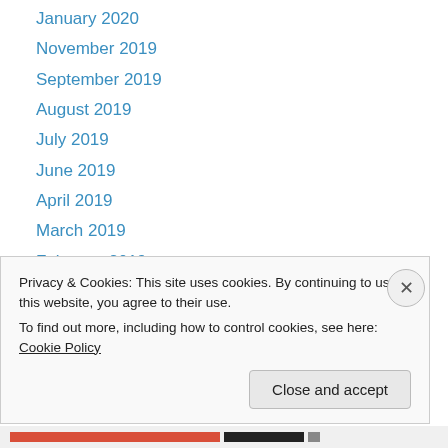January 2020
November 2019
September 2019
August 2019
July 2019
June 2019
April 2019
March 2019
February 2019
January 2019
November 2018
September 2018
August 2018
Privacy & Cookies: This site uses cookies. By continuing to use this website, you agree to their use. To find out more, including how to control cookies, see here: Cookie Policy
Close and accept